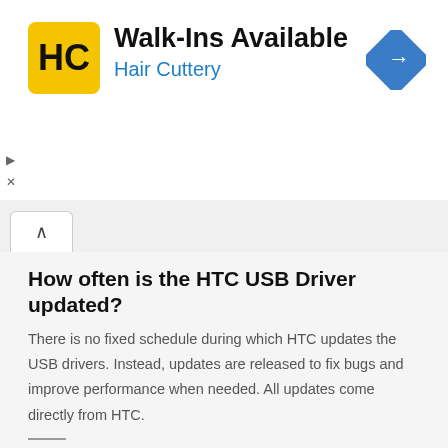[Figure (logo): Hair Cuttery advertisement banner with yellow HC logo, 'Walk-Ins Available' heading, 'Hair Cuttery' subtitle in blue, and a blue diamond direction arrow icon on the right]
How often is the HTC USB Driver updated?
There is no fixed schedule during which HTC updates the USB drivers. Instead, updates are released to fix bugs and improve performance when needed. All updates come directly from HTC.
How can I install HTC USB Driver?
You can install the HTC USB Driver by downloading the .exe file and installing the driver on the Computer. The